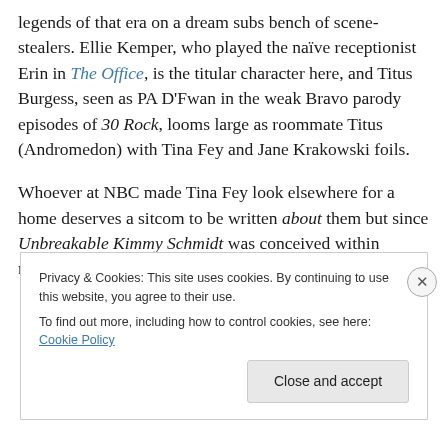legends of that era on a dream subs bench of scene-stealers. Ellie Kemper, who played the naïve receptionist Erin in The Office, is the titular character here, and Titus Burgess, seen as PA D'Fwan in the weak Bravo parody episodes of 30 Rock, looms large as roommate Titus (Andromedon) with Tina Fey and Jane Krakowski foils.
Whoever at NBC made Tina Fey look elsewhere for a home deserves a sitcom to be written about them but since Unbreakable Kimmy Schmidt was conceived within network censorship standards, it streamed on Netflix with
Privacy & Cookies: This site uses cookies. By continuing to use this website, you agree to their use. To find out more, including how to control cookies, see here: Cookie Policy
Close and accept